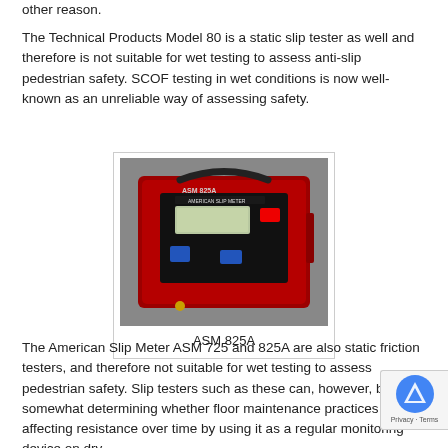other reason.
The Technical Products Model 80 is a static slip tester as well and therefore is not suitable for wet testing to assess anti-slip pedestrian safety. SCOF testing in wet conditions is now well-known as an unreliable way of assessing safety.
[Figure (photo): Photograph of the ASM 825A device — a red metal box with a black handle, LCD display, red and blue buttons on the front panel.]
ASM 825A
The American Slip Meter ASM 725 and 825A are also static friction testers, and therefore not suitable for wet testing to assess pedestrian safety. Slip testers such as these can, however, be somewhat determining whether floor maintenance practices are affecting resistance over time by using it as a regular monitoring device on dry